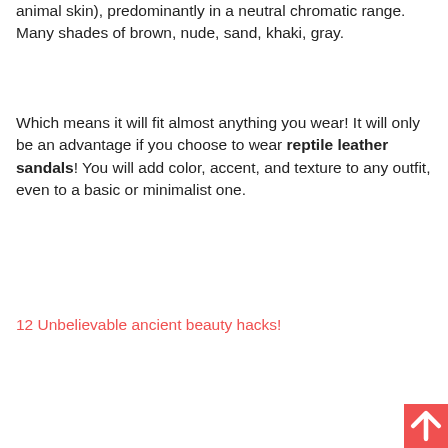animal skin), predominantly in a neutral chromatic range.   Many shades of brown, nude, sand, khaki, gray.
Which means it will fit almost anything you wear! It will only be an advantage if you choose to wear reptile leather sandals! You will add color, accent, and texture to any outfit, even to a basic or minimalist one.
12 Unbelievable ancient beauty hacks!